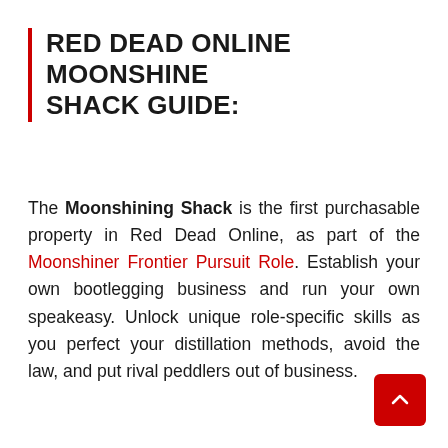RED DEAD ONLINE MOONSHINE SHACK GUIDE:
The Moonshining Shack is the first purchasable property in Red Dead Online, as part of the Moonshiner Frontier Pursuit Role. Establish your own bootlegging business and run your own speakeasy. Unlock unique role-specific skills as you perfect your distillation methods, avoid the law, and put rival peddlers out of business.